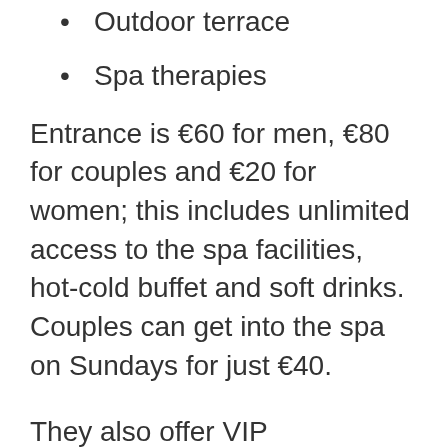Outdoor terrace
Spa therapies
Entrance is €60 for men, €80 for couples and €20 for women; this includes unlimited access to the spa facilities, hot-cold buffet and soft drinks. Couples can get into the spa on Sundays for just €40.
They also offer VIP membership packages at €300 per month which give you unlimited access. Groups of 10 or more also receive discounts of 10% with day packages available from €900.
The Wellness Centre is open as follows:
Sunday to Thursday: Midday to 1.00am